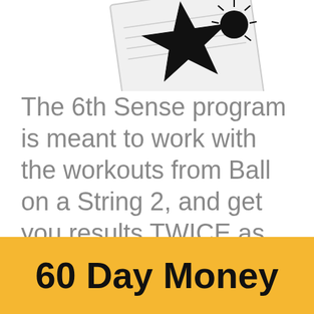[Figure (photo): Partial image of a book or notebook with a star graphic, black and white, partially cut off at top of page]
The 6th Sense program is meant to work with the workouts from Ball on a String 2, and get you results TWICE as fast.
60 Day Money